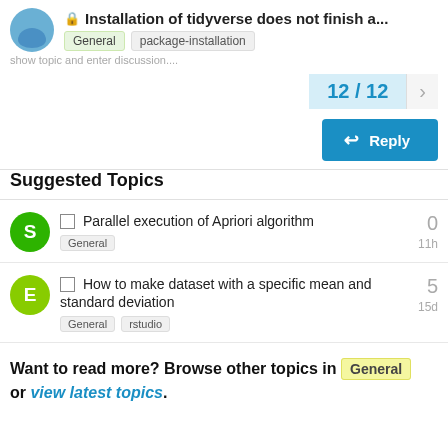Installation of tidyverse does not finish a... General package-installation
show topic and enter discussion...
12 / 12
Reply
Suggested Topics
Parallel execution of Apriori algorithm
General
0
11h
How to make dataset with a specific mean and standard deviation
General  rstudio
5
15d
Want to read more? Browse other topics in General or view latest topics.